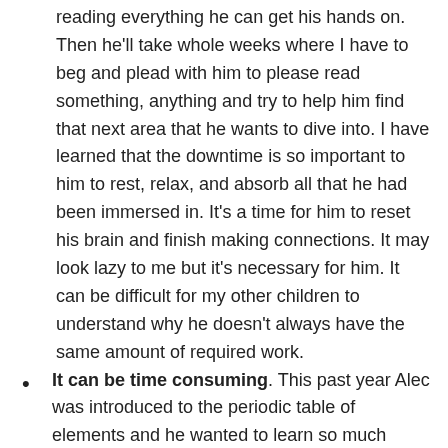reading everything he can get his hands on.  Then he'll take whole weeks where I have to beg and plead with him to please read something, anything and try to help him find that next area that he wants to dive into.  I have learned that the downtime is so important to him to rest, relax, and absorb all that he had been immersed in.  It's a time for him to reset his brain and finish making connections.  It may look lazy to me but it's necessary for him.  It can be difficult for my other children to understand why he doesn't always have the same amount of required work.
It can be time consuming.  This past year Alec was introduced to the periodic table of elements and he wanted to learn so much more about it.  We had a hard time finding materials that kept his interest since most of them were geared toward high school kids.  I spent days pouring over internet sights like Pinterest and Amazon trying to find games, apps and other fun hands on ways to learn about the elements.  Fortunately the